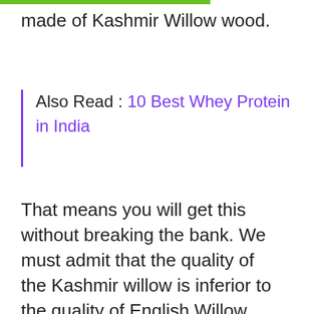made of Kashmir Willow wood.
Also Read : 10 Best Whey Protein in India
That means you will get this without breaking the bank. We must admit that the quality of the Kashmir willow is inferior to the quality of English Willow. But, the Kashmir Willow is cheaper than English Willow. So, if you are looking for a great quality cricket ball to play cork balls within a budget, you can check this bat out.